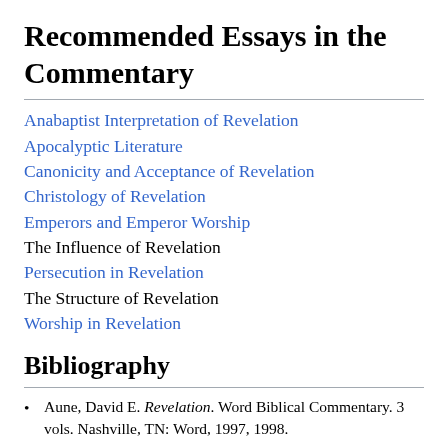Recommended Essays in the Commentary
Anabaptist Interpretation of Revelation
Apocalyptic Literature
Canonicity and Acceptance of Revelation
Christology of Revelation
Emperors and Emperor Worship
The Influence of Revelation
Persecution in Revelation
The Structure of Revelation
Worship in Revelation
Bibliography
Aune, David E. Revelation. Word Biblical Commentary. 3 vols. Nashville, TN: Word, 1997, 1998.
Barr, David L. Tales of the End: Narrative Commentary on the Book of Revelation. 2nd ed. Santa Rosa, CA: